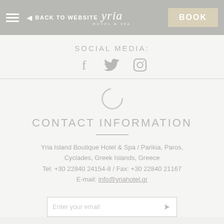◄ BACK TO WEBSITE | Yria Hotel | BOOK
SOCIAL MEDIA:
[Figure (other): Social media icons: Facebook, Twitter, Instagram]
[Figure (other): Loading spinner circle]
CONTACT INFORMATION
Yria Island Boutique Hotel & Spa / Parikia, Paros, Cyclades, Greek Islands, Greece
Tel: +30 22840 24154-8 / Fax: +30 22840 21167
E-mail: info@yriahotel.gr
Enter your email